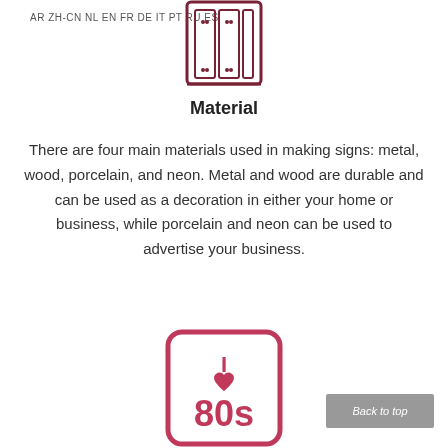AR ZH-CN NL EN FR DE IT PT RU ES
[Figure (illustration): Line-art icon of a filing cabinet or shelving unit with three compartments, drawn in dark maroon/brown outline style]
Material
There are four main materials used in making signs: metal, wood, porcelain, and neon. Metal and wood are durable and can be used as a decoration in either your home or business, while porcelain and neon can be used to advertise your business.
[Figure (illustration): Rounded-rectangle sign with 'I [heart] 80s' text in dark maroon/pink, retro style]
Back to top